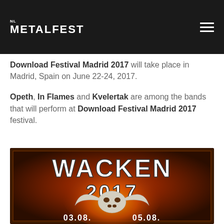NL METALFEST
Download Festival Madrid 2017 will take place in Madrid, Spain on June 22-24, 2017.
Opeth, In Flames and Kvelertak are among the bands that will perform at Download Festival Madrid 2017 festival.
[Figure (photo): Wacken 2017 festival poster showing large stylized text 'WACKEN 2017' with a bull skull graphic on a fiery background, with dates '03.08. 05.08' at the bottom]